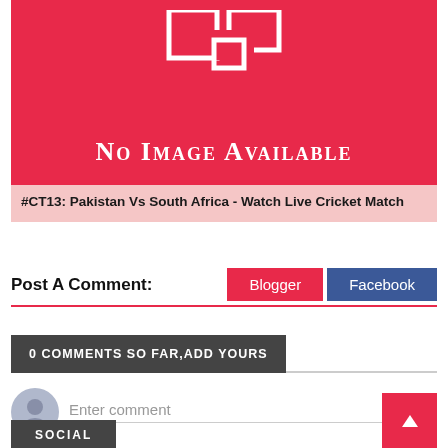[Figure (illustration): Red background 'No Image Available' placeholder with white geometric squares logo]
#CT13: Pakistan Vs South Africa - Watch Live Cricket Match
Post A Comment:
0 COMMENTS SO FAR,ADD YOURS
Enter comment
SOCIAL